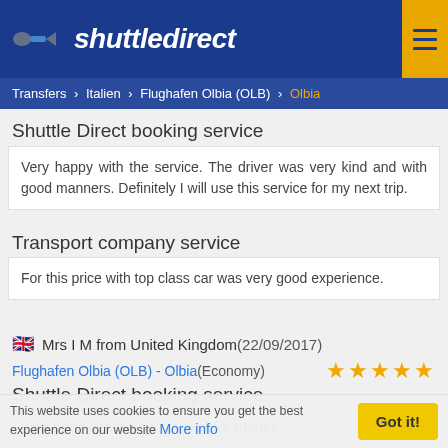shuttledirect
Transfers > Italien > Flughafen Olbia (OLB) > Olbia
Shuttle Direct booking service
Very happy with the service. The driver was very kind and with good manners. Definitely I will use this service for my next trip.
Transport company service
For this price with top class car was very good experience.
Mrs I M from United Kingdom (22/09/2017)
Flughafen Olbia (OLB) - Olbia (Economy) ★★★★★
Shuttle Direct booking service
very good service good value for money
This website uses cookies to ensure you get the best experience on our website More info